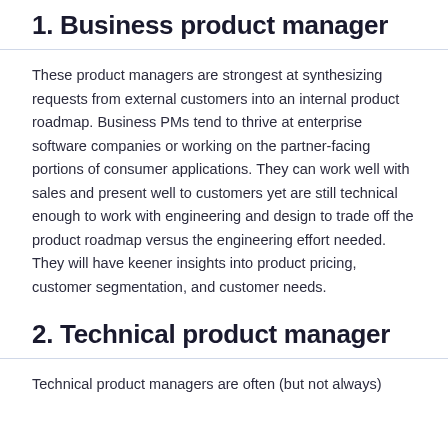1. Business product manager
These product managers are strongest at synthesizing requests from external customers into an internal product roadmap. Business PMs tend to thrive at enterprise software companies or working on the partner-facing portions of consumer applications. They can work well with sales and present well to customers yet are still technical enough to work with engineering and design to trade off the product roadmap versus the engineering effort needed. They will have keener insights into product pricing, customer segmentation, and customer needs.
2. Technical product manager
Technical product managers are often (but not always)